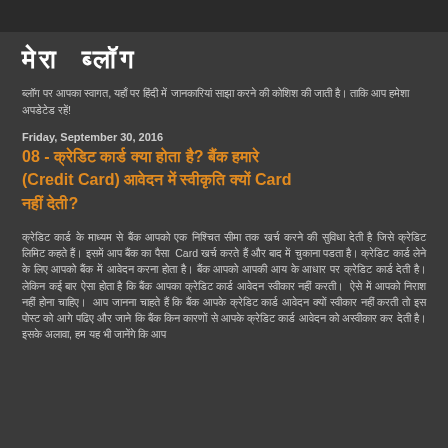मेरा ब्लॉग
ब्लॉग पर आपका स्वागत, यहाँ पर हिंदी में जानकारियां साझा करने की कोशिश की जाती है। ताकि आप हमेशा अपडेटेड रहें!
Friday, September 30, 2016
08 - क्रेडिट कार्ड क्या होता है? बैंक हमारे (Credit Card) आवेदन में स्वीकृति क्यों Card नहीं देती?
क्रेडिट कार्ड के माध्यम से बैंक आपको एक निश्चित सीमा तक खर्च करने की सुविधा देती है जिसे क्रेडिट लिमिट कहते हैं। इसमें आप बैंक का पैसा Card खर्च करते हैं और बाद में चुकाना पडता है। क्रेडिट कार्ड लेने के लिए आपको बैंक में आवेदन करना होता है। बैंक आपको आपकी आय के आधार पर क्रेडिट कार्ड देती है। लेकिन कई बार ऐसा होता है कि बैंक आपका क्रेडिट कार्ड आवेदन स्वीकार नहीं करती है। ऐसे में आपको निराश नहीं होना चाहिए। आप जानना चाहते हैं कि बैंक आपका क्रेडिट कार्ड आवेदन क्यों अस्वीकार करती है तो इस पोस्ट को आगे पढिए और जाने कि बैंक किन कारणों से आपके क्रेडिट कार्ड आवेदन को अस्वीकार कर देती है। इसके अलावा, हम यह भी जानेंगे कि आप